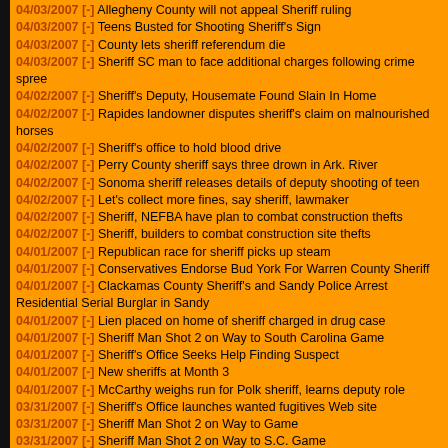04/03/2007 [-] Allegheny County will not appeal Sheriff ruling
04/03/2007 [-] Teens Busted for Shooting Sheriff's Sign
04/03/2007 [-] County lets sheriff referendum die
04/03/2007 [-] Sheriff SC man to face additional charges following crime spree
04/02/2007 [-] Sheriff's Deputy, Housemate Found Slain In Home
04/02/2007 [-] Rapides landowner disputes sheriff's claim on malnourished horses
04/02/2007 [-] Sheriff's office to hold blood drive
04/02/2007 [-] Perry County sheriff says three drown in Ark. River
04/02/2007 [-] Sonoma sheriff releases details of deputy shooting of teen
04/02/2007 [-] Let's collect more fines, say sheriff, lawmaker
04/02/2007 [-] Sheriff, NEFBA have plan to combat construction thefts
04/02/2007 [-] Sheriff, builders to combat construction site thefts
04/01/2007 [-] Republican race for sheriff picks up steam
04/01/2007 [-] Conservatives Endorse Bud York For Warren County Sheriff
04/01/2007 [-] Clackamas County Sheriff's and Sandy Police Arrest Residential Serial Burglar in Sandy
04/01/2007 [-] Lien placed on home of sheriff charged in drug case
04/01/2007 [-] Sheriff Man Shot 2 on Way to South Carolina Game
04/01/2007 [-] Sheriff's Office Seeks Help Finding Suspect
04/01/2007 [-] New sheriffs at Month 3
04/01/2007 [-] McCarthy weighs run for Polk sheriff, learns deputy role
03/31/2007 [-] Sheriff's Office launches wanted fugitives Web site
03/31/2007 [-] Sheriff Man Shot 2 on Way to Game
03/31/2007 [-] Sheriff Man Shot 2 on Way to S.C. Game
03/31/2007 [-] Sheriff's Investigate Peele Road Shooting